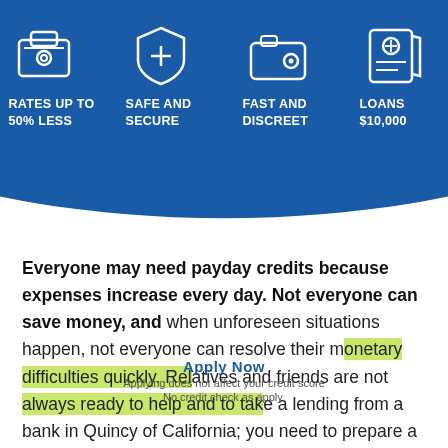[Figure (infographic): Blue hero banner with four feature icons and labels: laptop/robot icon with 'RATES UP TO 50% LESS', shield icon with 'SAFE AND SECURE', wallet icon with 'FAST AND DISCREET', house/money icon with 'LOANS $10,000']
Everyone may need payday credits because expenses increase every day. Not everyone can save money, and when unforeseen situations happen, not everyone can resolve their monetary difficulties quickly. Relatives and friends are not always ready to help and to take a lending from a bank in Quincy of California; you need to prepare a lot of documents to obtain a lending there. You can't also
Apply Now
Applying does not affect your credit score
No credit check as apply.